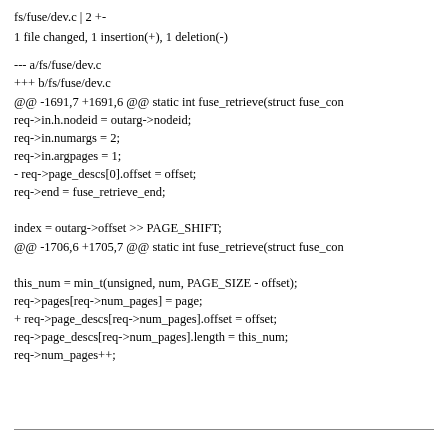fs/fuse/dev.c | 2 +-
1 file changed, 1 insertion(+), 1 deletion(-)
--- a/fs/fuse/dev.c
+++ b/fs/fuse/dev.c
@@ -1691,7 +1691,6 @@ static int fuse_retrieve(struct fuse_con
req->in.h.nodeid = outarg->nodeid;
req->in.numargs = 2;
req->in.argpages = 1;
- req->page_descs[0].offset = offset;
req->end = fuse_retrieve_end;

index = outarg->offset >> PAGE_SHIFT;
@@ -1706,6 +1705,7 @@ static int fuse_retrieve(struct fuse_con

this_num = min_t(unsigned, num, PAGE_SIZE - offset);
req->pages[req->num_pages] = page;
+ req->page_descs[req->num_pages].offset = offset;
req->page_descs[req->num_pages].length = this_num;
req->num_pages++;